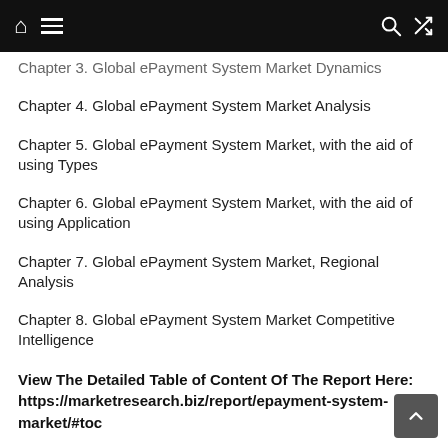[navigation bar with home, menu, search, shuffle icons]
Chapter 3. Global ePayment System Market Dynamics
Chapter 4. Global ePayment System Market Analysis
Chapter 5. Global ePayment System Market, with the aid of using Types
Chapter 6. Global ePayment System Market, with the aid of using Application
Chapter 7. Global ePayment System Market, Regional Analysis
Chapter 8. Global ePayment System Market Competitive Intelligence
View The Detailed Table of Content Of The Report Here: https://marketresearch.biz/report/epayment-system-market/#toc